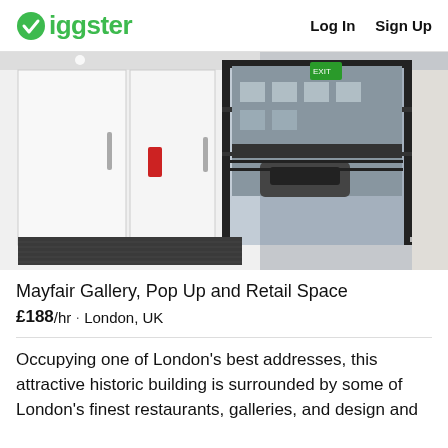Giggster  Log In  Sign Up
[Figure (photo): Interior photo of a white-walled gallery/retail space with large black-framed glass storefront door open, showing a London street outside with parked cars and a building across the road. Dark floor mat at entrance, fire extinguisher on white panel door on left.]
Mayfair Gallery, Pop Up and Retail Space
£188/hr · London, UK
Occupying one of London's best addresses, this attractive historic building is surrounded by some of London's finest restaurants, galleries, and design and…